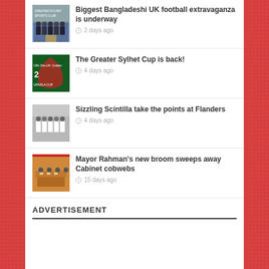Biggest Bangladeshi UK football extravaganza is underway — 2 days ago
The Greater Sylhet Cup is back! — 4 days ago
Sizzling Scintilla take the points at Flanders — 4 days ago
Mayor Rahman's new broom sweeps away Cabinet cobwebs — 15 days ago
ADVERTISEMENT